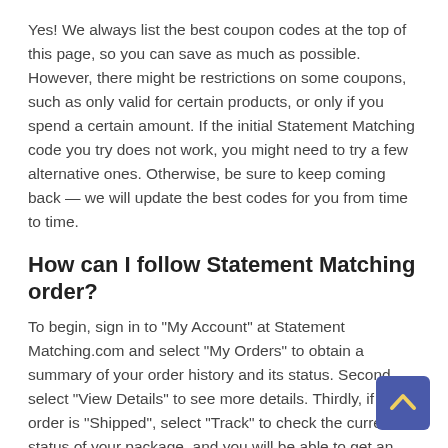Yes! We always list the best coupon codes at the top of this page, so you can save as much as possible. However, there might be restrictions on some coupons, such as only valid for certain products, or only if you spend a certain amount. If the initial Statement Matching code you try does not work, you might need to try a few alternative ones. Otherwise, be sure to keep coming back — we will update the best codes for you from time to time.
How can I follow Statement Matching order?
To begin, sign in to "My Account" at Statement Matching.com and select "My Orders" to obtain a summary of your order history and its status. Second, select "View Details" to see more details. Thirdly, if your order is "Shipped", select "Track" to check the current status of your package, and you will be able to get an overview of your recent shipping history of your package. Lastly, after you've confirmed that your things have been delivered, you can
[Figure (other): A dark blue/purple back-to-top arrow button in the bottom right corner of the page.]